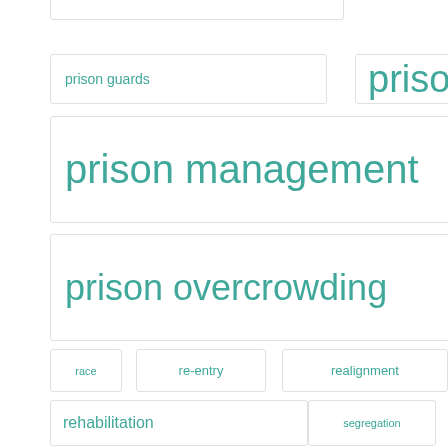prison guards
prison health system
prison management
prison overcrowding
privatization
race
re-entry
realignment
reentry
rehabilitation
segregation
sentencing
Sentencing Alternatives
social engineering ramblings
solitary confinement
Special Populations
the big picture